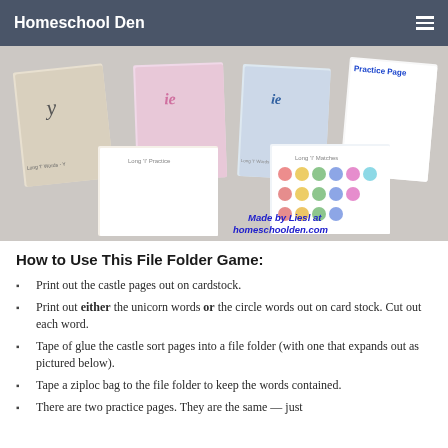Homeschool Den
[Figure (photo): Collage of Long I Words file folder game worksheets and practice pages including castle pages, unicorn word cards, circle word cards, and a practice page. Watermark reads 'Made by Liesl at homeschoolden.com']
How to Use This File Folder Game:
Print out the castle pages out on cardstock.
Print out either the unicorn words or the circle words out on card stock. Cut out each word.
Tape of glue the castle sort pages into a file folder (with one that expands out as pictured below).
Tape a ziploc bag to the file folder to keep the words contained.
There are two practice pages. They are the same — just